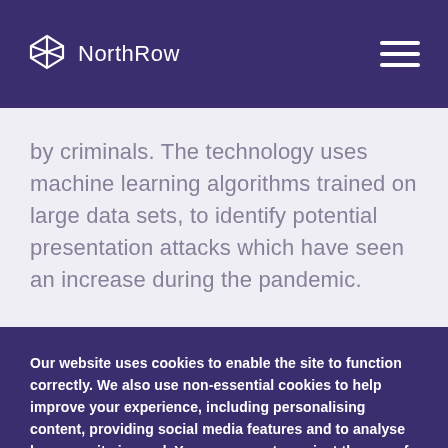NorthRow
by criminals. The technology uses machine learning algorithms trained on large data sets, to identify potential presentation attacks which have seen an increase during the pandemic.
Our website uses cookies to enable the site to function correctly. We also use non-essential cookies to help improve your experience, including personalising content, providing social media features and to analyse how our site is used. You can accept or reject the use of cookies here.